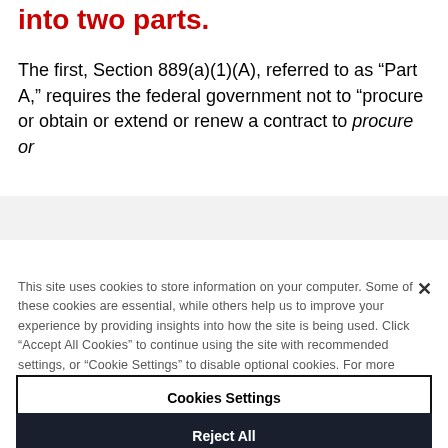into two parts.
The first, Section 889(a)(1)(A), referred to as “Part A,” requires the federal government not to “procure or obtain or extend or renew a contract to procure or
This site uses cookies to store information on your computer. Some of these cookies are essential, while others help us to improve your experience by providing insights into how the site is being used. Click “Accept All Cookies” to continue using the site with recommended settings, or “Cookie Settings” to disable optional cookies. For more detailed information on the cookies we use, please review our Privacy Policy
Cookies Settings
Reject All
Accept All Cookies